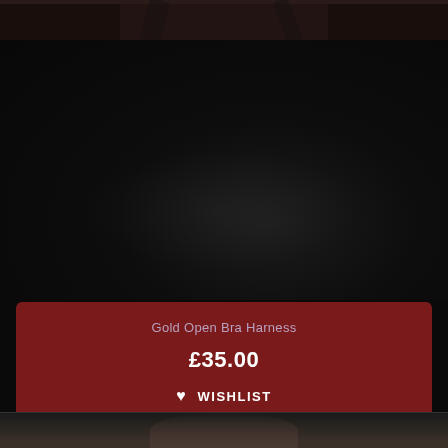[Figure (photo): Top portion of a product photo showing dark clothing/lingerie item against dark background]
Gold Open Bra Harness
£35.00
♥ WISHLIST
[Figure (photo): Bottom partial product photo, partially visible]